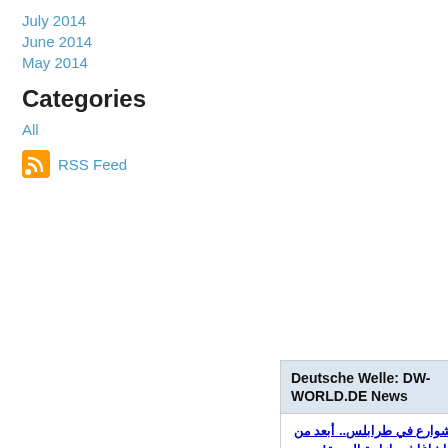July 2014
June 2014
May 2014
Categories
All
RSS Feed
[Figure (other): Deutsche Welle DW-WORLD.DE News widget with Arabic news items including article links and preview text]
حرب شوارع في طرابلس.. أبعد من فشل باشاغا في إزاحة الدبيبة!
تفجرت الأوضاع مرة أخرى في ليبيا مع محاولة جديدة من معسكر شرق لي...
جورجيا ميلوني اليمينية المتطرفة.. الأوفر حظا للفوز برئاسة الوزراء الإيطالية
جورجيا ميلوني، زعيمة حزب "أخّوة إيطاليا" اليميني المتطرف والمر...